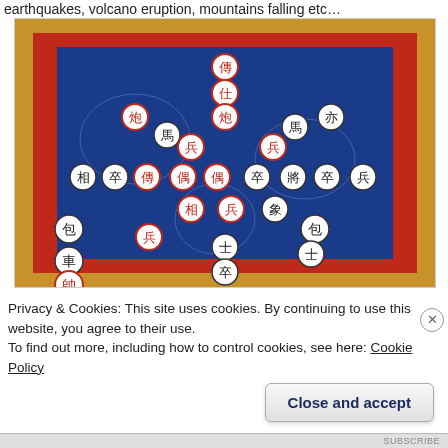earthquakes, volcano eruption, mountains falling etc…
[Figure (photo): Chinese chess (Xiangqi) pieces arranged on an ornate blue, red, and gold embroidered cloth/board. The circular pieces show Chinese characters in red and black, representing various game pieces such as 帥, 車, 馬, 砲, 相, 士, 兵, 卒, 仕, 偶, etc. The cloth has dragon and floral patterns.]
Privacy & Cookies: This site uses cookies. By continuing to use this website, you agree to their use.
To find out more, including how to control cookies, see here: Cookie Policy
Close and accept